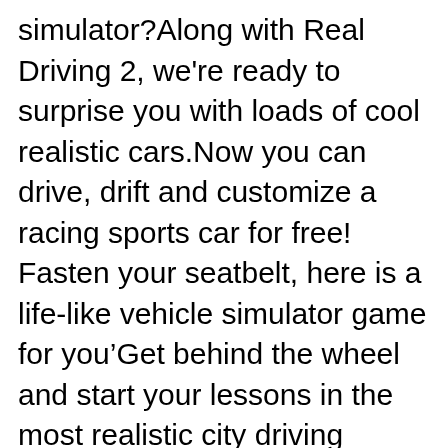simulator?Along with Real Driving 2, we're ready to surprise you with loads of cool realistic cars.Now you can drive, drift and customize a racing sports car for free! Fasten your seatbelt, here is a life-like vehicle simulator game for you’Get behind the wheel and start your lessons in the most realistic city driving simulator around! This is a game that will not only test your skills in controlling the car but also demand full attention to traffic rules.Experience realistic car driving in the new racing simulation game, surpassing other race vehicles.With its advanced realistic physics engine, this ultimate car game - Real Driving 2 : Ultimate Car Simulator is going to provide you with addictive gameplay, and endless fun of driving simulation!The tutorial will teach you all the rules and controls in no time.